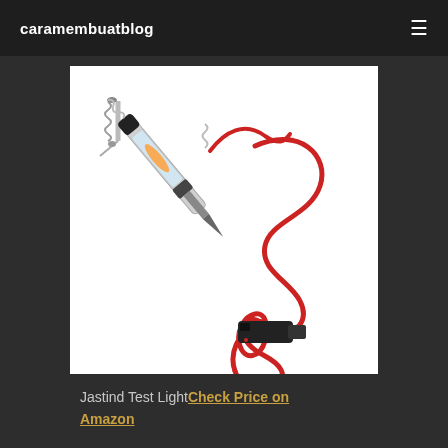caramembuatblog
[Figure (photo): A Jastind automotive circuit test light with a transparent body showing internal wiring and a glowing bulb, a pointed metal probe tip, coiled red cable, black alligator clip, and a separate spring-coiled attachment piece, shown on a white background.]
Jastind Test Light Check Price on Amazon